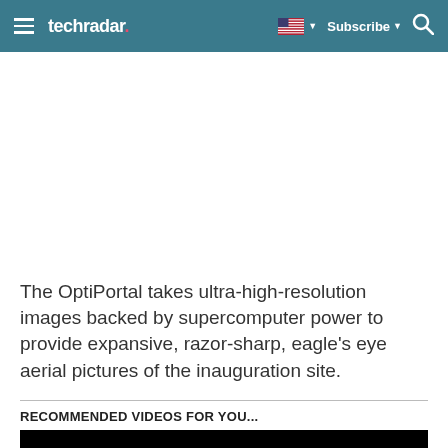techradar
[Figure (other): Large advertisement or image placeholder area (white/blank)]
The OptiPortal takes ultra-high-resolution images backed by supercomputer power to provide expansive, razor-sharp, eagle's eye aerial pictures of the inauguration site.
RECOMMENDED VIDEOS FOR YOU...
[Figure (other): Black video player placeholder]